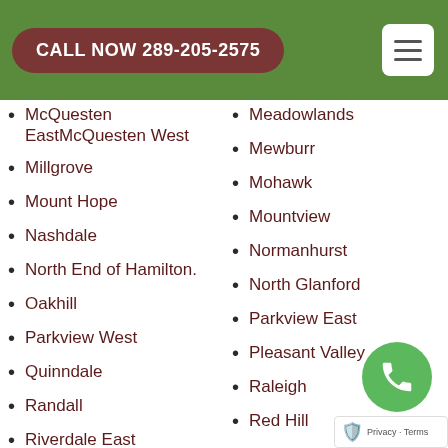CALL NOW 289-205-2575
McQuesten EastMcQuesten West
Millgrove
Mount Hope
Nashdale
North End of Hamilton.
Oakhill
Parkview West
Quinndale
Randall
Riverdale East
Rockton
Rosedale
Ryckman's Corners
Meadowlands
Mewburr
Mohawk
Mountview
Normanhurst
North Glanford
Parkview East
Pleasant Valley
Raleigh
Red Hill
Riverdale West
Rolston
Rushdale
Sherwood